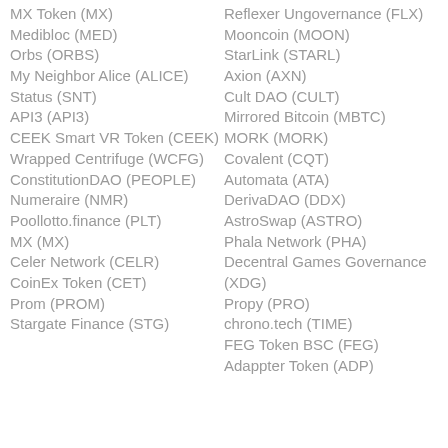MX Token (MX)
Medibloc (MED)
Orbs (ORBS)
My Neighbor Alice (ALICE)
Status (SNT)
API3 (API3)
CEEK Smart VR Token (CEEK)
Wrapped Centrifuge (WCFG)
ConstitutionDAO (PEOPLE)
Numeraire (NMR)
Poollotto.finance (PLT)
MX (MX)
Celer Network (CELR)
CoinEx Token (CET)
Prom (PROM)
Stargate Finance (STG)
Reflexer Ungovernance (FLX)
Mooncoin (MOON)
StarLink (STARL)
Axion (AXN)
Cult DAO (CULT)
Mirrored Bitcoin (MBTC)
MORK (MORK)
Covalent (CQT)
Automata (ATA)
DerivaDAO (DDX)
AstroSwap (ASTRO)
Phala Network (PHA)
Decentral Games Governance (XDG)
Propy (PRO)
chrono.tech (TIME)
FEG Token BSC (FEG)
Adappter Token (ADP)